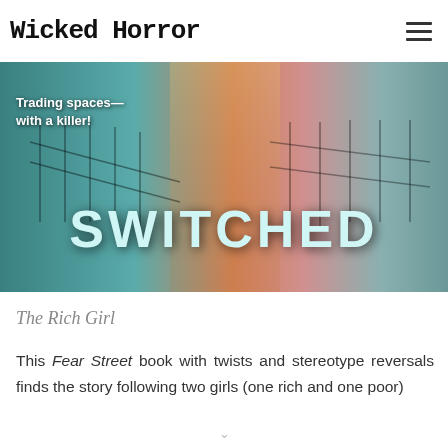Wicked Horror
[Figure (photo): Banner image for 'Switched' horror book/movie. Dark teal and orange toned image of a fence and house. Text overlay reads 'Trading spaces—with a killer!' and large title 'SWITCHED'.]
The Rich Girl
This Fear Street book with twists and stereotype reversals finds the story following two girls (one rich and one poor)